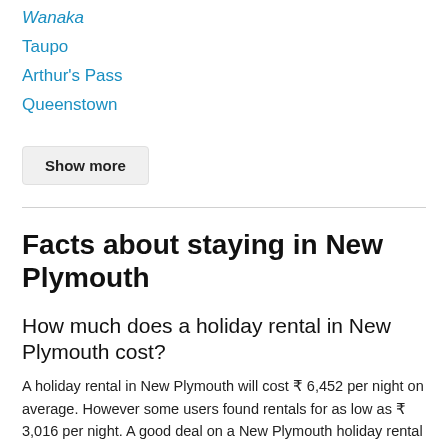Wanaka
Taupo
Arthur's Pass
Queenstown
Show more
Facts about staying in New Plymouth
How much does a holiday rental in New Plymouth cost?
A holiday rental in New Plymouth will cost ₹ 6,452 per night on average. However some users found rentals for as low as ₹ 3,016 per night. A good deal on a New Plymouth holiday rental would be anything for ₹ 6,141 per night or less. Keep in mind that booking July and...